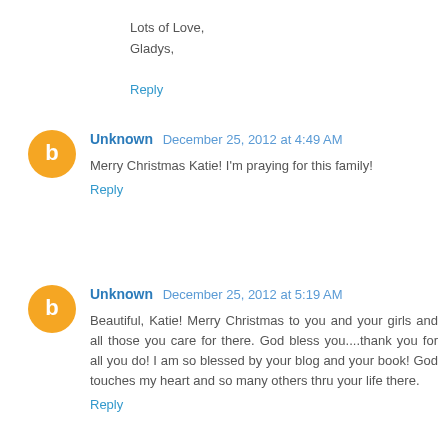Lots of Love,
Gladys,
Reply
Unknown December 25, 2012 at 4:49 AM
Merry Christmas Katie! I'm praying for this family!
Reply
Unknown December 25, 2012 at 5:19 AM
Beautiful, Katie! Merry Christmas to you and your girls and all those you care for there. God bless you....thank you for all you do! I am so blessed by your blog and your book! God touches my heart and so many others thru your life there.
Reply